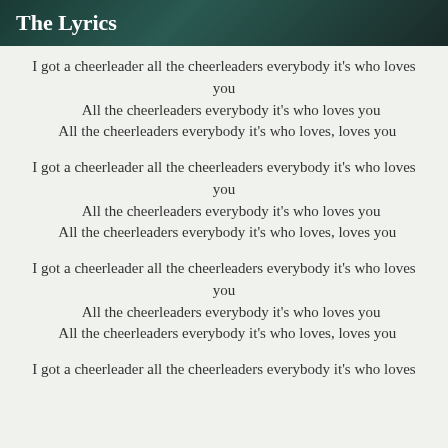The Lyrics
I got a cheerleader all the cheerleaders everybody it's who loves you
All the cheerleaders everybody it's who loves you
All the cheerleaders everybody it's who loves, loves you
I got a cheerleader all the cheerleaders everybody it's who loves you
All the cheerleaders everybody it's who loves you
All the cheerleaders everybody it's who loves, loves you
I got a cheerleader all the cheerleaders everybody it's who loves you
All the cheerleaders everybody it's who loves you
All the cheerleaders everybody it's who loves, loves you
I got a cheerleader all the cheerleaders everybody it's who loves